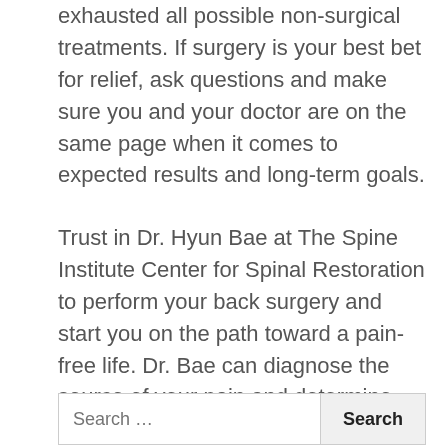exhausted all possible non-surgical treatments. If surgery is your best bet for relief, ask questions and make sure you and your doctor are on the same page when it comes to expected results and long-term goals.
Trust in Dr. Hyun Bae at The Spine Institute Center for Spinal Restoration to perform your back surgery and start you on the path toward a pain-free life. Dr. Bae can diagnose the source of your pain and determine the most effective treatment plan. Call our office today at 310-828-7757 to learn more and schedule an appointment.